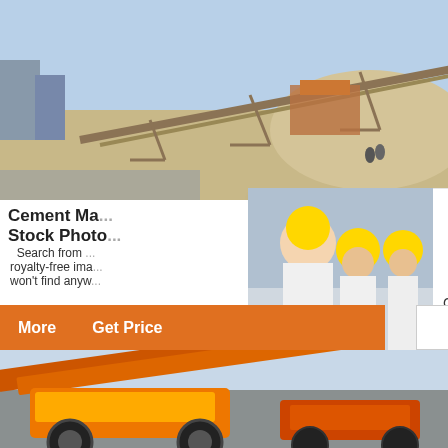[Figure (photo): Industrial cement/mining plant with conveyor belts and machinery, sandy landscape and buildings in background, blue sky]
Cement Ma...
Stock Photo...
Search from ... royalty-free ima... won't find anyw...
[Figure (photo): Live Chat popup overlay with workers in hard hats/yellow helmets. Text: LIVE CHAT, Click for a Free Consultation, Chat now, Chat later buttons and close X button]
[Figure (photo): Orange background panel with industrial crushing/grinding machinery images and Enquiry section. Text: Enjoy 3% discount, Click to Chat, Enquiry]
[Figure (photo): Two orange/red industrial machines on ground level, mobile crushing equipment]
More   Get Price
Email contact